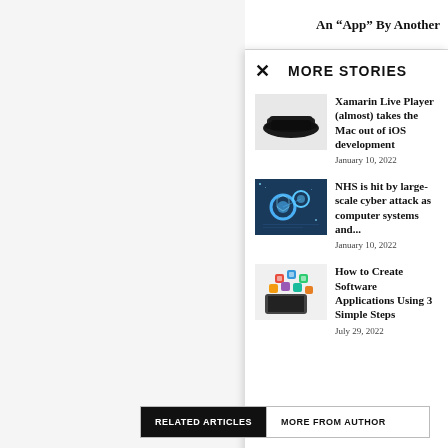An “App” By Another
MORE STORIES
Xamarin Live Player (almost) takes the Mac out of iOS development
January 10, 2022
NHS is hit by large-scale cyber attack as computer systems and...
January 10, 2022
How to Create Software Applications Using 3 Simple Steps
July 29, 2022
Alcohol evangelis... fanatic. Earned p... 2002-2009 expor... tar in Fort Walto... tobacco in Tampa... the UK. Spent
RELATED ARTICLES   MORE FROM AUTHOR